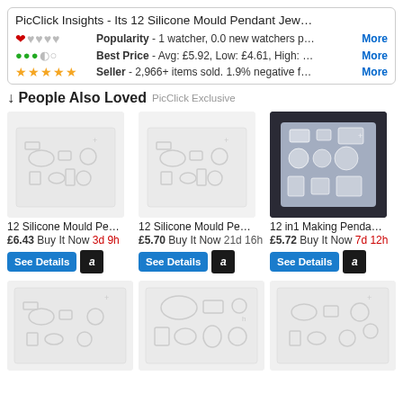PicClick Insights - Its 12 Silicone Mould Pendant Jew…
❤♥♥♥♥ Popularity - 1 watcher, 0.0 new watchers p… More
✅✅✅✅✅ Best Price - Avg: £5.92, Low: £4.61, High: … More
★★★★★ Seller - 2,966+ items sold. 1.9% negative f… More
↓ People Also Loved PicClick Exclusive
[Figure (photo): 12 Silicone Mould pendant tray, light gray mold on white background]
[Figure (photo): 12 Silicone Mould pendant tray, light gray mold on white background, second listing]
[Figure (photo): 12 in1 Making Pendant mold, white/blue silicone tray on dark background]
12 Silicone Mould Pe…
£6.43 Buy It Now 3d 9h
12 Silicone Mould Pe…
£5.70 Buy It Now 21d 16h
12 in1 Making Penda…
£5.72 Buy It Now 7d 12h
[Figure (photo): White silicone mould pendant tray, bottom left]
[Figure (photo): White silicone mould pendant tray with various shapes, bottom center]
[Figure (photo): White silicone mould pendant tray, bottom right]